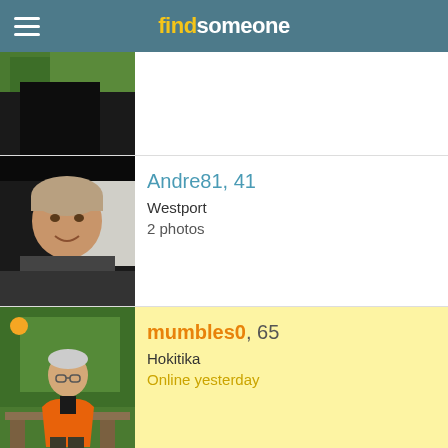find someone
[Figure (photo): Partial profile photo of a person outdoors with trees, cropped at top]
[Figure (photo): Profile photo of Andre81, a young man smiling, wearing a dark shirt]
Andre81, 41
Westport
2 photos
[Figure (photo): Profile photo of mumbles0, an older man in an orange jacket sitting on a bench outdoors]
mumbles0, 65
Hokitika
Online yesterday
[Figure (photo): Partial profile photo of ford1975, showing outdoor scene with palm trees and building]
ford1975, 47
Westport
Online yesterday